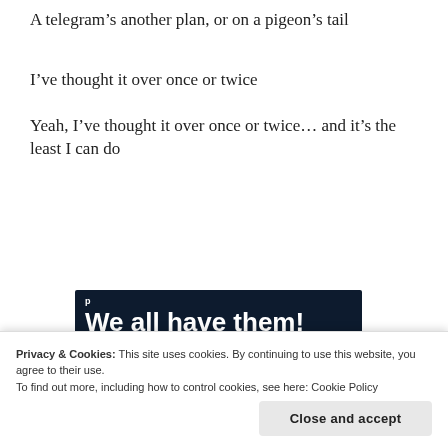A telegram's another plan, or on a pigeon's tail
I've thought it over once or twice
Yeah, I've thought it over once or twice... and it's the least I can do
[Figure (infographic): Dark navy banner advertisement with large white bold text 'We all have them!' and a pink 'Start a survey' button and a circular logo in the bottom right]
Privacy & Cookies: This site uses cookies. By continuing to use this website, you agree to their use. To find out more, including how to control cookies, see here: Cookie Policy
Close and accept